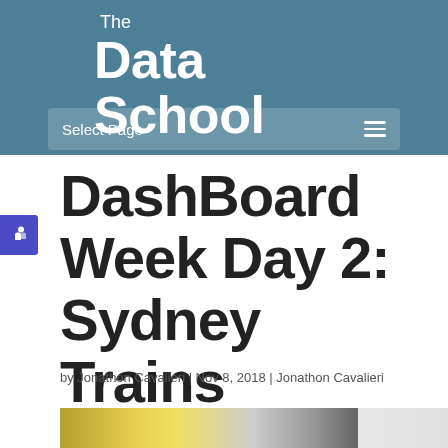The Data School
Select Page
DashBoard Week Day 2: Sydney Trains
by Jonathon Cavalieri | Nov 8, 2018 | Jonathon Cavalieri
[Figure (photo): Partial photo of a Sydney train at the bottom of the page]